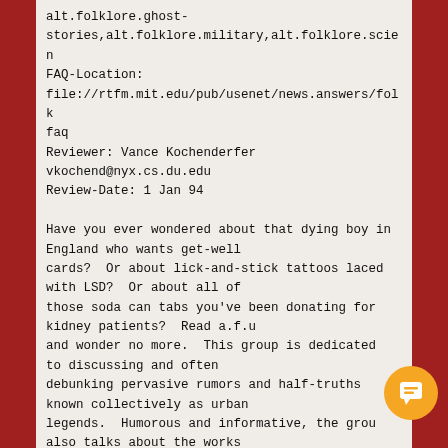alt.folklore.ghost-stories,alt.folklore.military,alt.folklore.scien
FAQ-Location:
file://rtfm.mit.edu/pub/usenet/news.answers/folk
faq
Reviewer: Vance Kochenderfer
vkochend@nyx.cs.du.edu
Review-Date: 1 Jan 94

Have you ever wondered about that dying boy in England who wants get-well cards?  Or about lick-and-stick tattoos laced with LSD?  Or about all of those soda can tabs you've been donating for kidney patients?  Read a.f.u and wonder no more.  This group is dedicated to discussing and often debunking pervasive rumors and half-truths known collectively as urban legends.  Humorous and informative, the group also talks about the works